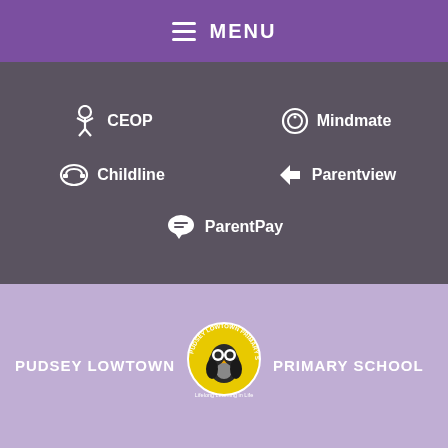MENU
CEOP
Mindmate
Childline
Parentview
ParentPay
[Figure (logo): Pudsey Lowtown Primary School logo with owl mascot and text: Pudsey Lowtown Primary School, Lifelong Learning in Life]